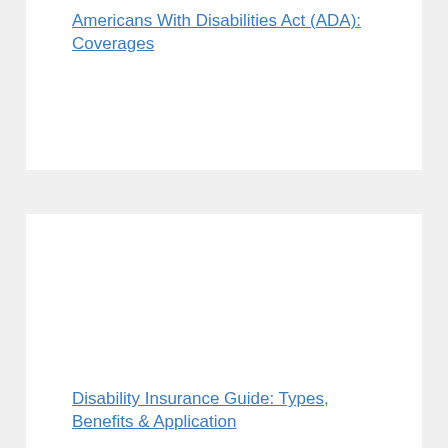Americans With Disabilities Act (ADA): Coverages
[Figure (photo): Large white image area, likely an article thumbnail for Disability Insurance Guide]
Disability Insurance Guide: Types, Benefits & Application